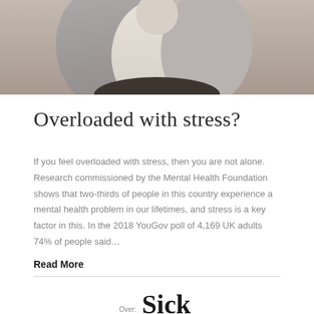[Figure (photo): Partial view of a person from the torso up, wearing a light shirt and dark jacket, cropped at the top of the page]
Overloaded with stress?
If you feel overloaded with stress, then you are not alone. Research commissioned by the Mental Health Foundation shows that two-thirds of people in this country experience a mental health problem in our lifetimes, and stress is a key factor in this. In the 2018 YouGov poll of 4,169 UK adults 74% of people said...
Read More